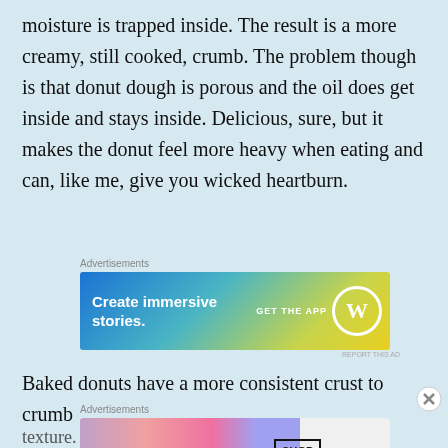moisture is trapped inside. The result is a more creamy, still cooked, crumb. The problem though is that donut dough is porous and the oil does get inside and stays inside. Delicious, sure, but it makes the donut feel more heavy when eating and can, like me, give you wicked heartburn.
[Figure (screenshot): WordPress advertisement banner: 'Create immersive stories. GET THE APP' with WordPress logo on gradient blue-green-yellow background]
Baked donuts have a more consistent crust to crumb texture. This is because moisture evenly leaves the
[Figure (screenshot): MAC cosmetics advertisement showing lipsticks with 'MAC SHOP NOW' text]